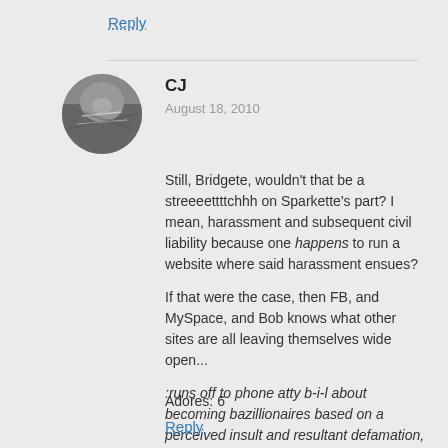Reply
CJ
August 18, 2010
[Figure (photo): User avatar photo of a cat in a circular crop]
Still, Bridgete, wouldn't that be a streeeettttchhh on Sparkette's part? I mean, harassment and subsequent civil liability because one happens to run a website where said harassment ensues?

If that were the case, then FB, and MySpace, and Bob knows what other sites are all leaving themselves wide open...

:runs off to phone atty b-i-l about becoming bazillionaires based on a perceived insult and resultant defamation, loss of hair, weight gain, and catulator malfunction:
Adores: 6
Reply